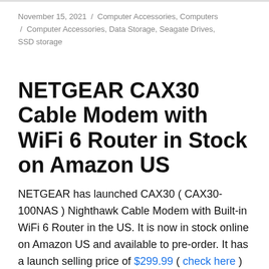November 15, 2021 / Computer Accessories, Computers / Computer Accessories, Data Storage, Seagate Drives, SSD storage
NETGEAR CAX30 Cable Modem with WiFi 6 Router in Stock on Amazon US
NETGEAR has launched CAX30 ( CAX30-100NAS ) Nighthawk Cable Modem with Built-in WiFi 6 Router in the US. It is now in stock online on Amazon US and available to pre-order. It has a launch selling price of $299.99 ( check here )